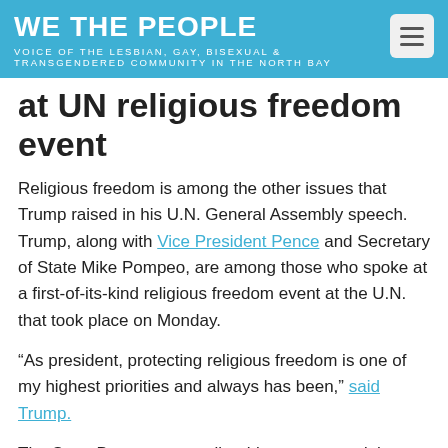WE THE PEOPLE
VOICE OF THE LESBIAN, GAY, BISEXUAL & TRANSGENDERED COMMUNITY IN THE NORTH BAY
at UN religious freedom event
Religious freedom is among the other issues that Trump raised in his U.N. General Assembly speech. Trump, along with Vice President Pence and Secretary of State Mike Pompeo, are among those who spoke at a first-of-its-kind religious freedom event at the U.N. that took place on Monday.
“As president, protecting religious freedom is one of my highest priorities and always has been,” said Trump.
The State Department earlier this year created the Commission on Unalienable Rights that stresses “natural law and natural rights.” Pompeo in July named Mary Ann